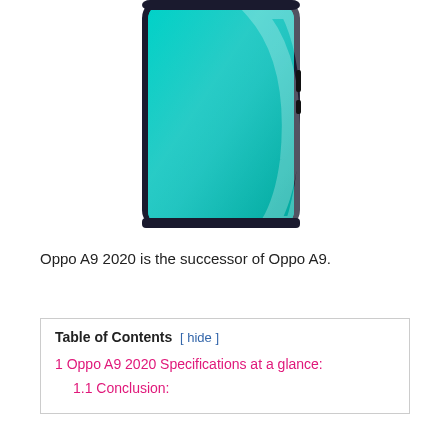[Figure (photo): Photo of Oppo A9 2020 smartphone showing the front display with teal/turquoise gradient color and a thin bezel design with visible side buttons]
Oppo A9 2020 is the successor of Oppo A9.
Table of Contents [ hide ]
1 Oppo A9 2020 Specifications at a glance:
1.1 Conclusion: